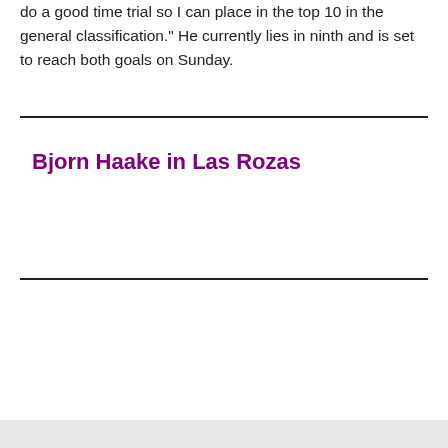do a good time trial so I can place in the top 10 in the general classification." He currently lies in ninth and is set to reach both goals on Sunday.
Bjorn Haake in Las Rozas